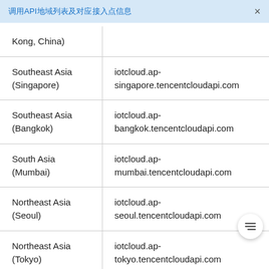调用API地域列表及对应接入点信息
| Region | Endpoint |
| --- | --- |
| Kong, China) |  |
| Southeast Asia (Singapore) | iotcloud.ap-singapore.tencentcloudapi.com |
| Southeast Asia (Bangkok) | iotcloud.ap-bangkok.tencentcloudapi.com |
| South Asia (Mumbai) | iotcloud.ap-mumbai.tencentcloudapi.com |
| Northeast Asia (Seoul) | iotcloud.ap-seoul.tencentcloudapi.com |
| Northeast Asia (Tokyo) | iotcloud.ap-tokyo.tencentcloudapi.com |
| ... | iotcloud... |